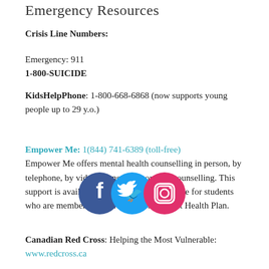Emergency Resources
Crisis Line Numbers:
Emergency: 911
1-800-SUICIDE
KidsHelpPhone: 1-800-668-6868 (now supports young people up to 29 y.o.)
Empower Me: 1(844) 741-6389 (toll-free)
Empower Me offers mental health counselling in person, by telephone, by video-counselling, or by e-counselling. This support is available 24/7 and is free of charge for students who are members of the AMS/GSS Student Health Plan.
[Figure (illustration): Social media icons: Facebook, Twitter, Instagram overlapping circles]
Canadian Red Cross: Helping the Most Vulnerable:
www.redcross.ca